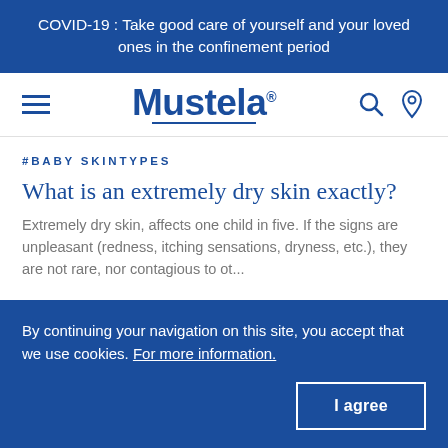COVID-19 : Take good care of yourself and your loved ones in the confinement period
[Figure (logo): Mustela brand logo with hamburger menu, search icon, and location pin icon in navigation bar]
#BABY SKINTYPES
What is an extremely dry skin exactly?
Extremely dry skin, affects one child in five. If the signs are unpleasant (redness, itching sensations, dryness, etc.), they are not rare, nor contagious to ot...
By continuing your navigation on this site, you accept that we use cookies. For more information.